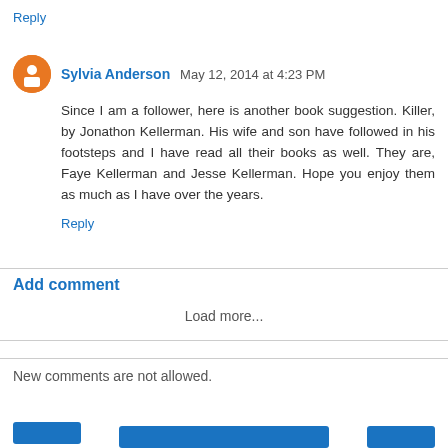Reply
Sylvia Anderson May 12, 2014 at 4:23 PM
Since I am a follower, here is another book suggestion. Killer, by Jonathon Kellerman. His wife and son have followed in his footsteps and I have read all their books as well. They are, Faye Kellerman and Jesse Kellerman. Hope you enjoy them as much as I have over the years.
Reply
Add comment
Load more...
New comments are not allowed.